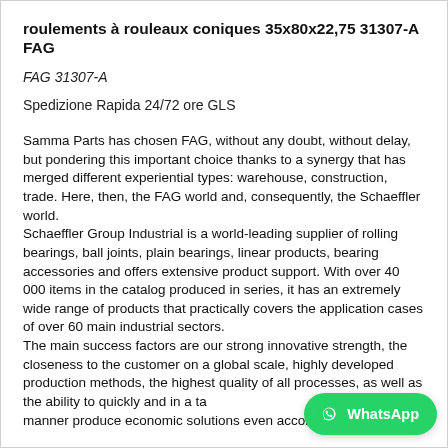roulements à rouleaux coniques 35x80x22,75 31307-A FAG
FAG 31307-A
Spedizione Rapida 24/72 ore GLS
Samma Parts has chosen FAG, without any doubt, without delay, but pondering this important choice thanks to a synergy that has merged different experiential types: warehouse, construction, trade. Here, then, the FAG world and, consequently, the Schaeffler world. Schaeffler Group Industrial is a world-leading supplier of rolling bearings, ball joints, plain bearings, linear products, bearing accessories and offers extensive product support. With over 40 000 items in the catalog produced in series, it has an extremely wide range of products that practically covers the application cases of over 60 main industrial sectors. The main success factors are our strong innovative strength, the closeness to the customer on a global scale, highly developed production methods, the highest quality of all processes, as well as the ability to quickly and in a targeted manner produce economic solutions even according to specific needs of the Sector.